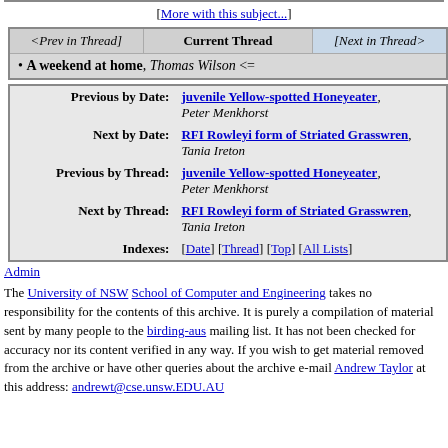[More with this subject...]
| <Prev in Thread> | Current Thread | [Next in Thread> |
| --- | --- | --- |
| • A weekend at home, Thomas Wilson <= |
| Previous by Date: | juvenile Yellow-spotted Honeyeater, Peter Menkhorst |
| Next by Date: | RFI Rowleyi form of Striated Grasswren, Tania Ireton |
| Previous by Thread: | juvenile Yellow-spotted Honeyeater, Peter Menkhorst |
| Next by Thread: | RFI Rowleyi form of Striated Grasswren, Tania Ireton |
| Indexes: | [Date] [Thread] [Top] [All Lists] |
Admin
The University of NSW School of Computer and Engineering takes no responsibility for the contents of this archive. It is purely a compilation of material sent by many people to the birding-aus mailing list. It has not been checked for accuracy nor its content verified in any way. If you wish to get material removed from the archive or have other queries about the archive e-mail Andrew Taylor at this address: andrewt@cse.unsw.EDU.AU